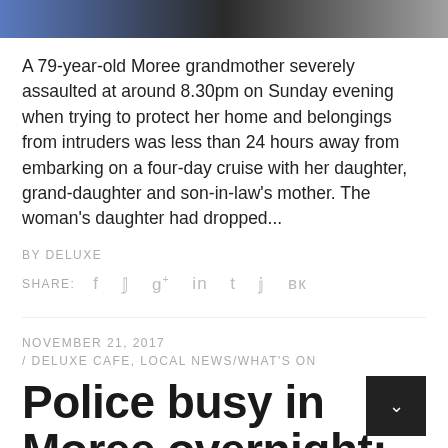[Figure (photo): Top portion of an image showing blue, black and grey tones, partially cropped at the top of the page]
A 79-year-old Moree grandmother severely assaulted at around 8.30pm on Sunday evening when trying to protect her home and belongings from intruders was less than 24 hours away from embarking on a four-day cruise with her daughter, grand-daughter and son-in-law's mother. The woman's daughter had dropped...
BY DELUXE
SHARE: f  g+  in  t  p  vk
NOVEMBER 21, 2017 / DELUXE CAFE, LOCAL NEWS/WHAT'S ON
Police busy in Moree overnight: business break-